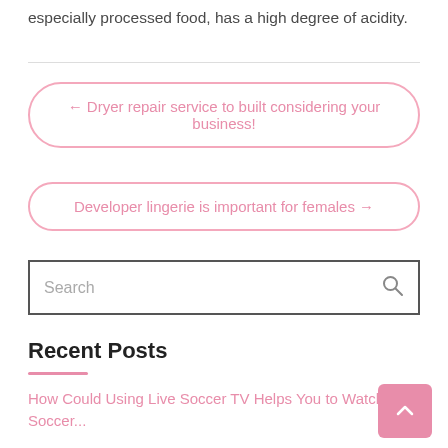especially processed food, has a high degree of acidity.
← Dryer repair service to built considering your business!
Developer lingerie is important for females →
Search
Recent Posts
How Could Using Live Soccer TV Helps You to Watch Live Soccer...